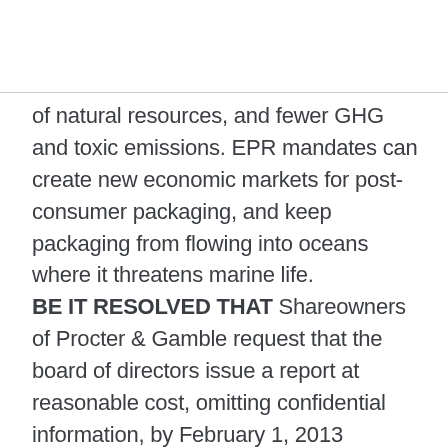of natural resources, and fewer GHG and toxic emissions. EPR mandates can create new economic markets for post-consumer packaging, and keep packaging from flowing into oceans where it threatens marine life. BE IT RESOLVED THAT Shareowners of Procter & Gamble request that the board of directors issue a report at reasonable cost, omitting confidential information, by February 1, 2013 assessing the feasibility of adopting a policy of Extended Producer Responsibility for post-consumer product packaging as a means of increasing rates of packaging recycling, reducing carbon emissions and air and water pollution resulting from the